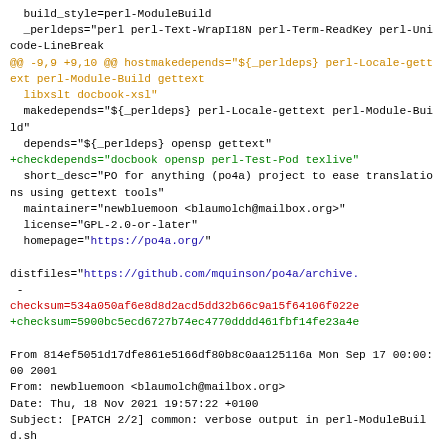build_style=perl-ModuleBuild
 _perldeps="perl perl-Text-WrapI18N perl-Term-ReadKey perl-Unicode-LineBreak
@@ -9,9 +9,10 @@ hostmakedepends="${_perldeps} perl-Locale-gettext perl-Module-Build gettext
  libxslt docbook-xsl"
 makedepends="${_perldeps} perl-Locale-gettext perl-Module-Build"
 depends="${_perldeps} opensp gettext"
+checkdepends="docbook opensp perl-Test-Pod texlive"
 short_desc="PO for anything (po4a) project to ease translations using gettext tools"
 maintainer="newbluemoon <blaumolch@mailbox.org>"
 license="GPL-2.0-or-later"
 homepage="https://po4a.org/"

distfiles="https://github.com/mquinson/po4a/archive.
-
checksum=534a050af6e8d8d2acd5dd32b66c9a15f64106f022e
+checksum=5900bc5ecd6727b74ec4770dddd461fbf14fe23a4e

From 814ef5051d17dfe861e5166df80b8c0aa125116a Mon Sep 17 00:00:00 2001
From: newbluemoon <blaumolch@mailbox.org>
Date: Thu, 18 Nov 2021 19:57:22 +0100
Subject: [PATCH 2/2] common: verbose output in perl-ModuleBuild.sh

  when running tests